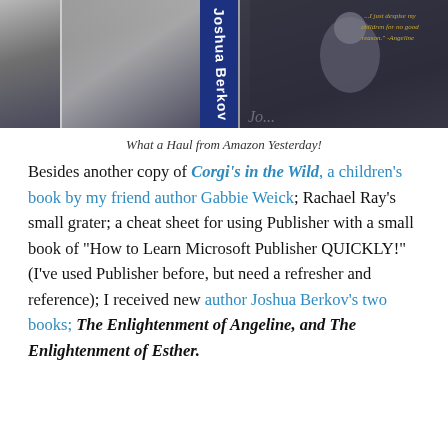[Figure (photo): Photograph of two book covers by Joshua Berkov arranged on a surface. One has a blue spine with the author name 'Joshua Berkov' visible. The other shows a child figure in black and white with gold italic text reading a quote attributed to Angeline.]
What a Haul from Amazon Yesterday!
Besides another copy of Corgi's in the Wild, a children's book by my friend author Gabbie Weick; Rachael Ray's small grater; a cheat sheet for using Publisher with a small book of "How to Learn Microsoft Publisher QUICKLY!" (I've used Publisher before, but need a refresher and reference); I received new author Joshua Berkov's two books; The Enlightenment of Angeline, and The Enlightenment of Esther.